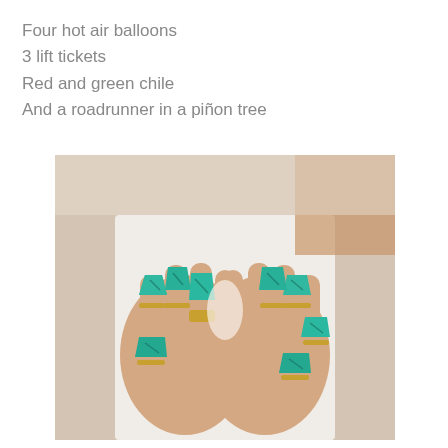Four hot air balloons
3 lift tickets
Red and green chile
And a roadrunner in a piñon tree
[Figure (photo): Two hands with fingers touching, each wearing multiple large turquoise stone rings with gold settings, against a white background.]